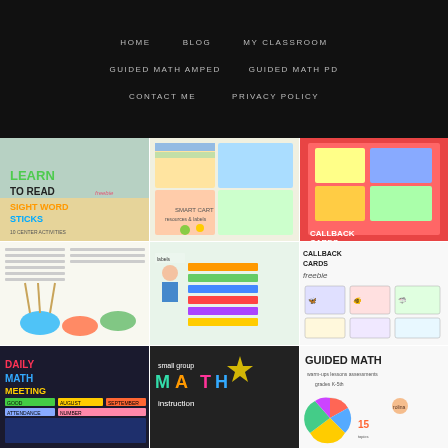HOME   BLOG   MY CLASSROOM   GUIDED MATH AMPED   GUIDED MATH PD   CONTACT ME   PRIVACY POLICY
[Figure (photo): Educational website screenshot showing a black navigation bar at top with menu items (HOME, BLOG, MY CLASSROOM, GUIDED MATH AMPED, GUIDED MATH PD, CONTACT ME, PRIVACY POLICY) and a 3-column grid of educational product images below. Row 1: Learn to Read freebie, worksheet/activity pack, callback cards. Row 2: Sight Word Sticks 10 center activities, Smart Cart resources and labels, Callback Cards freebie. Row 3: Daily Math Meeting, Small Group Math Instruction, Guided Math warm-ups/lessons/assessments grades K-5.]